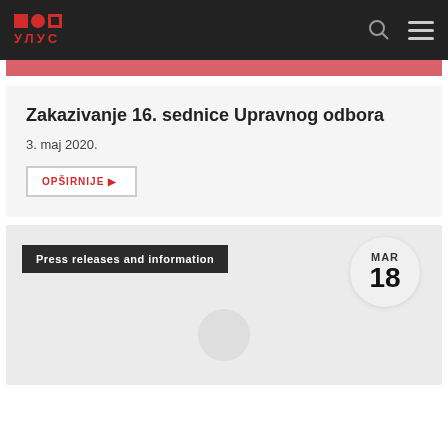УЛУС logo and navigation header
Zakazivanje 16. sednice Upravnog odbora
3. maj 2020.
OPŠIRNIJE ▶
Press releases and information
MAR 18